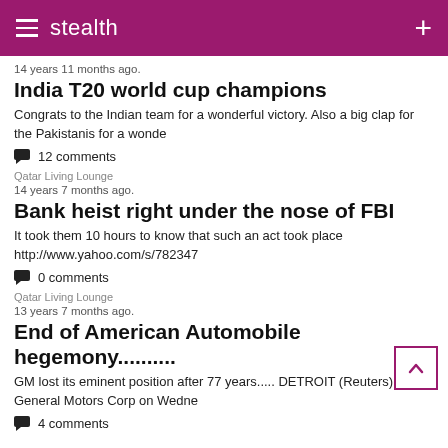stealth
14 years 11 months ago.
India T20 world cup champions
Congrats to the Indian team for a wonderful victory. Also a big clap for the Pakistanis for a wonde
12 comments
Qatar Living Lounge
14 years 7 months ago.
Bank heist right under the nose of FBI
It took them 10 hours to know that such an act took place http://www.yahoo.com/s/782347
0 comments
Qatar Living Lounge
13 years 7 months ago.
End of American Automobile hegemony..........
GM lost its eminent position after 77 years..... DETROIT (Reuters) - General Motors Corp on Wedne
4 comments